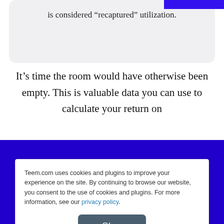is considered “recaptured” utilization.
It’s time the room would have otherwise been empty. This is valuable data you can use to calculate your return on
[Figure (screenshot): Dark blue promotional overlay for Teem with the Teem logo in white text and a close (X) button at top right. Partially visible bold white text at the bottom edge of the overlay.]
Teem.com uses cookies and plugins to improve your experience on the site. By continuing to browse our website, you consent to the use of cookies and plugins. For more information, see our privacy policy.
Okay